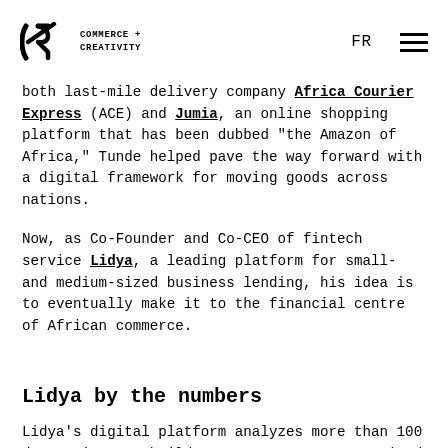C2 COMMERCE + CREATIVITY | FR | [menu]
both last-mile delivery company Africa Courier Express (ACE) and Jumia, an online shopping platform that has been dubbed "the Amazon of Africa," Tunde helped pave the way forward with a digital framework for moving goods across nations.
Now, as Co-Founder and Co-CEO of fintech service Lidya, a leading platform for small- and medium-sized business lending, his idea is to eventually make it to the financial centre of African commerce.
Lidya by the numbers
Lidya's digital platform analyzes more than 100 data points to build entrepreneurs a customized credit score and risk-